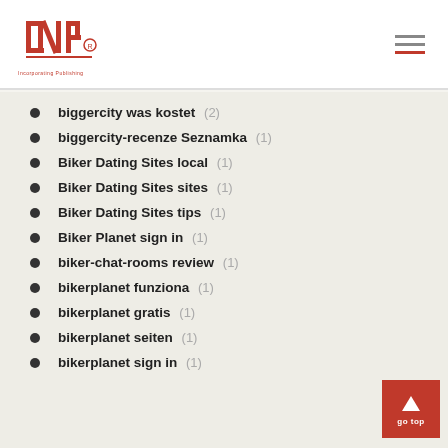INP logo with hamburger menu
biggercity was kostet (2)
biggercity-recenze Seznamka (1)
Biker Dating Sites local (1)
Biker Dating Sites sites (1)
Biker Dating Sites tips (1)
Biker Planet sign in (1)
biker-chat-rooms review (1)
bikerplanet funziona (1)
bikerplanet gratis (1)
bikerplanet seiten (1)
bikerplanet sign in (1)